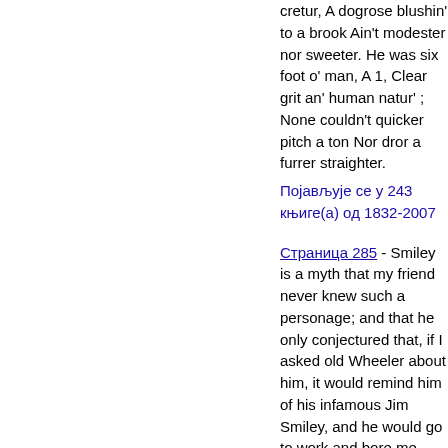cretur, A dogrose blushin' to a brook Ain't modester nor sweeter. He was six foot o' man, A 1, Clear grit an' human natur' ; None couldn't quicker pitch a ton Nor dror a furrer straighter.
Појављује се у 243 књиге(а) од 1832-2007
Страница 285 - Smiley is a myth that my friend never knew such a personage; and that he only conjectured that, if I asked old Wheeler about him, it would remind him of his infamous Jim Smiley, and he would go to work and bore me...
Појављује се у 104 књиге(а) од 1879-2008